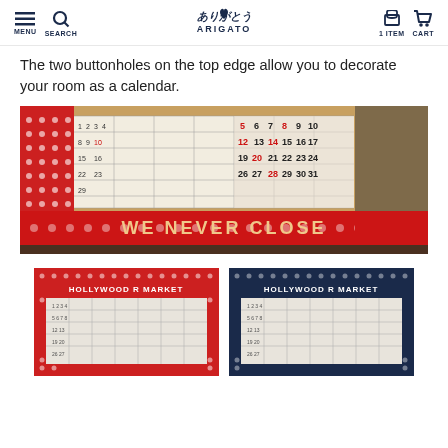MENU SEARCH | ARIGATO | 1 ITEM CART
The two buttonholes on the top edge allow you to decorate your room as a calendar.
[Figure (photo): Close-up photo of a red polka-dot calendar with 'WE NEVER CLOSE' printed on a red banner. Calendar grid shows numbered dates.]
[Figure (photo): Two Hollywood R Market calendars side by side — one red polka-dot and one navy polka-dot — showing calendar grid layouts.]